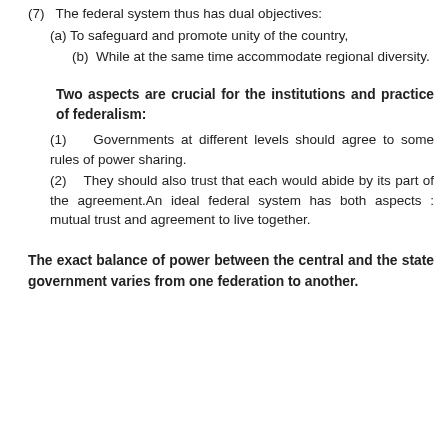(7)   The federal system thus has dual objectives:
(a) To safeguard and promote unity of the country,
(b)  While at the same time accommodate regional diversity.
Two aspects are crucial for the institutions and practice of federalism:
(1)    Governments at different levels should agree to some rules of power sharing.
(2)    They should also trust that each would abide by its part of the agreement.An ideal federal system has both aspects : mutual trust and agreement to live together.
The exact balance of power between the central and the state government varies from one federation to another.